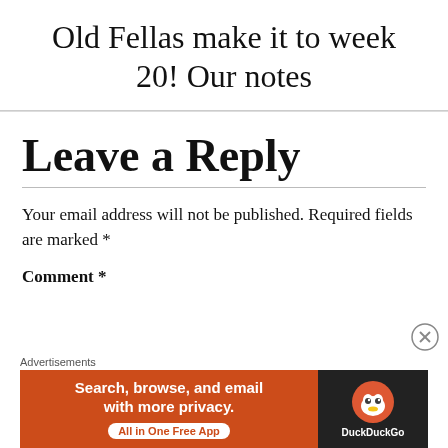Old Fellas make it to week 20! Our notes
Leave a Reply
Your email address will not be published. Required fields are marked *
Comment *
[Figure (infographic): Advertisement banner for DuckDuckGo. Orange background on the left with text 'Search, browse, and email with more privacy. All in One Free App'. Dark background on the right with DuckDuckGo logo and text 'DuckDuckGo'. Labeled 'Advertisements' above.]